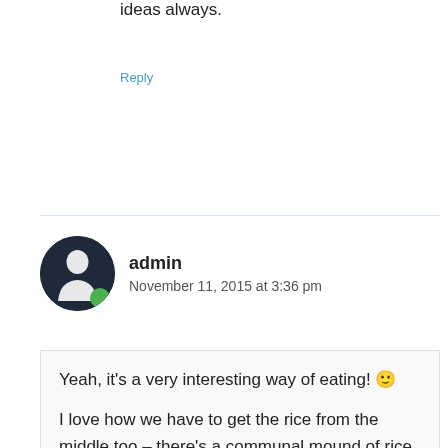ideas always.
Reply
admin
November 11, 2015 at 3:36 pm
Yeah, it's a very interesting way of eating! 🙂
I love how we have to get the rice from the middle too – there's a communal mound of rice, but we take a portion and eat it on our own areas in the banana leaf. It's a very different